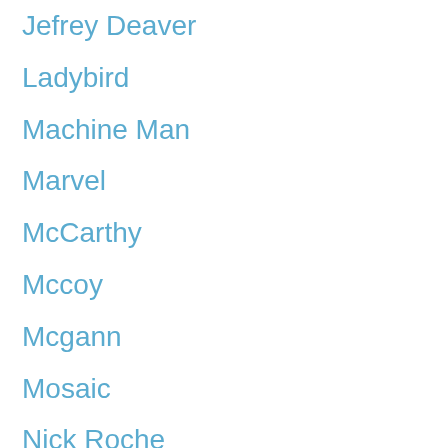Jefrey Deaver
Ladybird
Machine Man
Marvel
McCarthy
Mccoy
Mcgann
Mosaic
Nick Roche
Nimoy
Nintendo
Panini
Pegg
Pratchett
Prime
Rescue Bots
Revisitation
RID
Rincewind
Science Fiction
Science Fiction